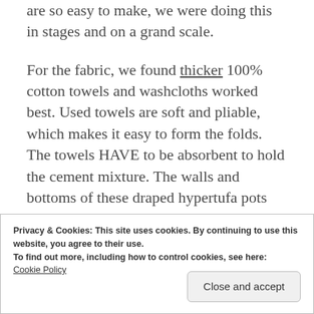are so easy to make, we were doing this in stages and on a grand scale.
For the fabric, we found thicker 100% cotton towels and washcloths worked best. Used towels are soft and pliable, which makes it easy to form the folds. The towels HAVE to be absorbent to hold the cement mixture. The walls and bottoms of these draped hypertufa pots are only as thick as the cement saturated towel. That's not to say you can't possibly use a thinner fabric, but then there will be an additional step to make them
Privacy & Cookies: This site uses cookies. By continuing to use this website, you agree to their use.
To find out more, including how to control cookies, see here:
Cookie Policy
NOTE: These directions will make up enough